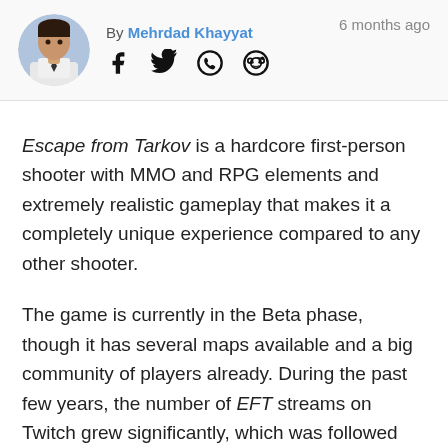By Mehrdad Khayyat — 6 months ago
Escape from Tarkov is a hardcore first-person shooter with MMO and RPG elements and extremely realistic gameplay that makes it a completely unique experience compared to any other shooter.
The game is currently in the Beta phase, though it has several maps available and a big community of players already. During the past few years, the number of EFT streams on Twitch grew significantly, which was followed